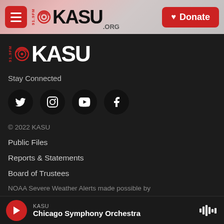KASU 91.9FM header with hamburger menu and Donate button
[Figure (logo): KASU 91.9FM logo in dark section]
Stay Connected
[Figure (infographic): Social media icons: Twitter, Instagram, YouTube, Facebook]
© 2022 KASU
Public Files
Reports & Statements
Board of Trustees
NOAA Severe Weather Alerts made possible by
KASU — Chicago Symphony Orchestra (player bar)